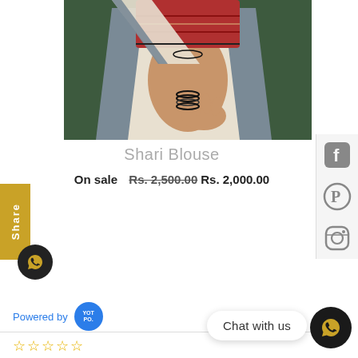[Figure (photo): Woman wearing a grey and cream sari blouse with red embroidered blouse, bangles, photographed outdoors against green background]
Shari Blouse
On sale  Rs. 2,500.00  Rs. 2,000.00
Share
Powered by YOTPO
Chat with us
★★★★★ (empty stars)